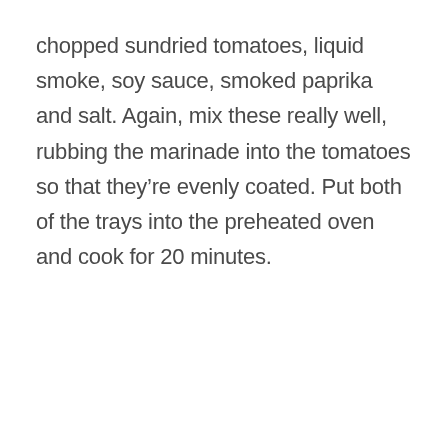chopped sundried tomatoes, liquid smoke, soy sauce, smoked paprika and salt. Again, mix these really well, rubbing the marinade into the tomatoes so that they're evenly coated. Put both of the trays into the preheated oven and cook for 20 minutes.